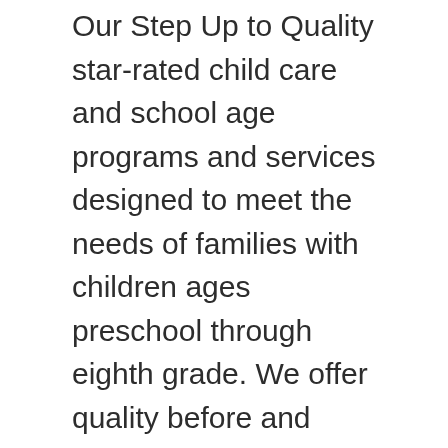Our Step Up to Quality star-rated child care and school age programs and services designed to meet the needs of families with children ages preschool through eighth grade. We offer quality before and after school care, full-day and partial-day child care for infants through preschoolers (at … Write a Review. We care for more than 1,300 children in licensed child care each year in Dane County. User account menu. We're for Youth Development, Healthy Living & Social Responsibility - check us out on www.ymcastark.org! Apply to Childcare Provider, Preschool Teacher, Home Helper and more! YMCA of Greater Louisville » Before & After School Care. When the first case of the virus was confirmed in Stark County, the YMCA took